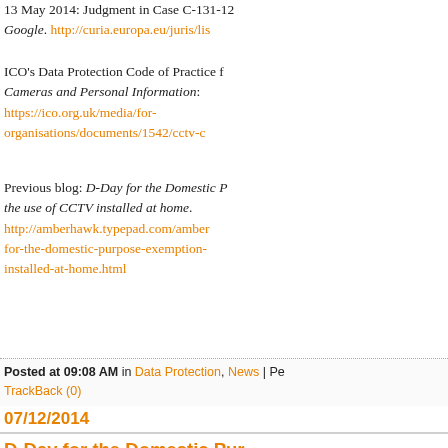13 May 2014: Judgment in Case C-131-12 Google. http://curia.europa.eu/juris/lis
ICO's Data Protection Code of Practice for Cameras and Personal Information: https://ico.org.uk/media/for-organisations/documents/1542/cctv-c
Previous blog: D-Day for the Domestic Purpose exemption and the use of CCTV installed at home. http://amberhawk.typepad.com/amber for-the-domestic-purpose-exemption- installed-at-home.html
Posted at 09:08 AM in Data Protection, News | Pe... TrackBack (0)
07/12/2014
D-Day for the Domestic Purpose exemption and the use of CCTV installed at home
I was just explaining to my psychiatrist th